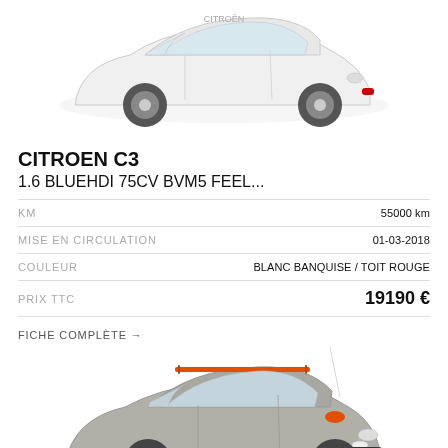[Figure (photo): White Citroën C3 car viewed from front-right angle, with red fog light accents, on white background]
CITROEN C3
1.6 BLUEHDI 75CV BVM5 FEEL...
| Label | Value |
| --- | --- |
| KM | 55000 km |
| MISE EN CIRCULATION | 01-03-2018 |
| COULEUR | BLANC BANQUISE / TOIT ROUGE |
| PRIX TTC | 19190 € |
FICHE COMPLÈTE →
[Figure (photo): Grey Citroën C3 car with orange roof rack and orange mirror caps, viewed from front-right angle]